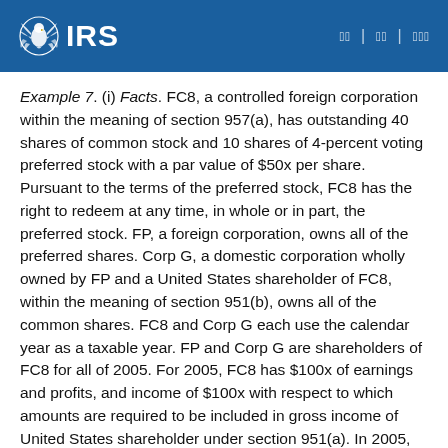IRS [logo] | [nav icons]
Example 7. (i) Facts. FC8, a controlled foreign corporation within the meaning of section 957(a), has outstanding 40 shares of common stock and 10 shares of 4-percent voting preferred stock with a par value of $50x per share. Pursuant to the terms of the preferred stock, FC8 has the right to redeem at any time, in whole or in part, the preferred stock. FP, a foreign corporation, owns all of the preferred shares. Corp G, a domestic corporation wholly owned by FP and a United States shareholder of FC8, within the meaning of section 951(b), owns all of the common shares. FC8 and Corp G each use the calendar year as a taxable year. FP and Corp G are shareholders of FC8 for all of 2005. For 2005, FC8 has $100x of earnings and profits, and income of $100x with respect to which amounts are required to be included in gross income of United States shareholder under section 951(a). In 2005, FC8 distributes as a dividend $20x to FP with respect to FP's preferred shares. FC8 makes no other distributions during that year.